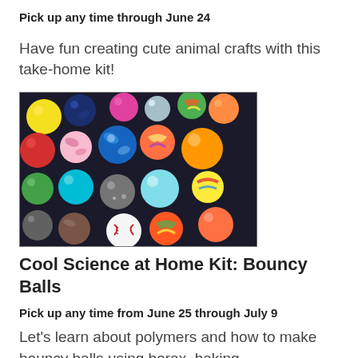Pick up any time through June 24
Have fun creating cute animal crafts with this take-home kit!
[Figure (photo): A colorful pile of various bouncy balls of different sizes, colors and patterns including marbled, solid, and multicolored balls.]
Cool Science at Home Kit: Bouncy Balls
Pick up any time from June 25 through July 9
Let's learn about polymers and how to make bouncy balls using borax, baking